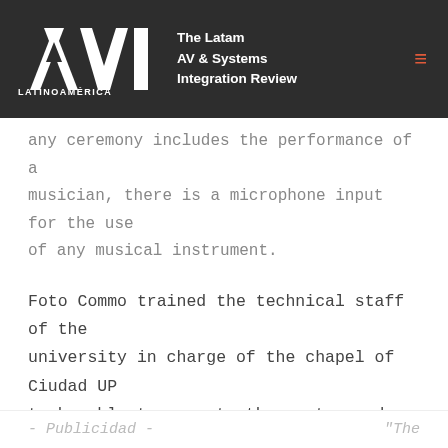[Figure (logo): AVI Latinoamérica logo with tagline 'The Latam AV & Systems Integration Review' on dark background]
any ceremony includes the performance of a musician, there is a microphone input for the use of any musical instrument.
Foto Commo trained the technical staff of the university in charge of the chapel of Ciudad UP to be able to operate the system and use the ControlSpace Remote software to control the equipment and make presets.
- Publicidad -    "The